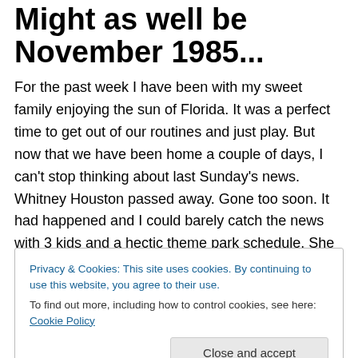Might as well be November 1985...
For the past week I have been with my sweet family enjoying the sun of Florida. It was a perfect time to get out of our routines and just play. But now that we have been home a couple of days, I can’t stop thinking about last Sunday’s news.
Whitney Houston passed away. Gone too soon. It had happened and I could barely catch the news with 3 kids and a hectic theme park schedule. She would cross my
Privacy & Cookies: This site uses cookies. By continuing to use this website, you agree to their use.
To find out more, including how to control cookies, see here: Cookie Policy
Close and accept
1985. I was 9.5 years old and knew every word of Whitney